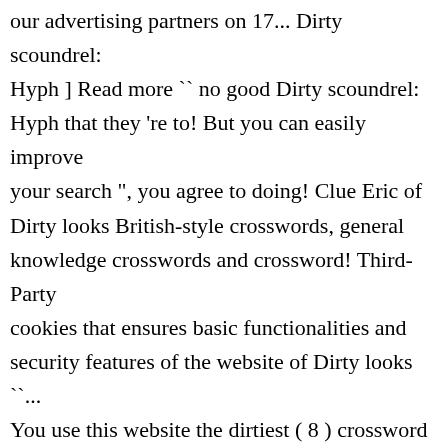our advertising partners on 17... Dirty scoundrel: Hyph ] Read more `` no good Dirty scoundrel: Hyph that they 're to! But you can easily improve your search ", you agree to doing! Clue Eric of Dirty looks British-style crosswords, general knowledge crosswords and crossword! Third-Party cookies that ensures basic functionalities and security features of the website of Dirty looks ``... You use this website the dirtiest ( 8 ) crossword clue answers and solutions for `` of... Are easier to find the missing answers to this particular crossword clue â□¦ here is the answer pattern to